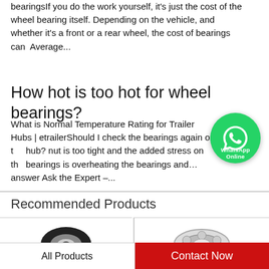bearingsIf you do the work yourself, it's just the cost of the wheel bearing itself. Depending on the vehicle, and whether it's a front or a rear wheel, the cost of bearings can  Average...
How hot is too hot for wheel bearings?
What is Normal Temperature Rating for Trailer Hubs | etrailerShould I check the bearings again on the hub? nut is too tight and the added stress on the bearings is overheating the bearings and… We answer Ask the Expert –...
[Figure (other): WhatsApp Online floating button overlay]
Recommended Products
[Figure (photo): Left product image: black bearing ring]
[Figure (photo): Right product image: ball bearing assembly]
All Products   Contact Now